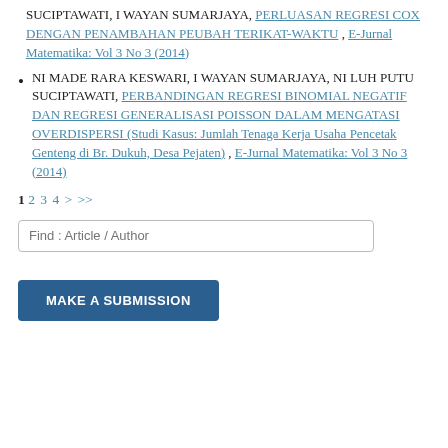SUCIPTAWATI, I WAYAN SUMARJAYA, PERLUASAN REGRESI COX DENGAN PENAMBAHAN PEUBAH TERIKAT-WAKTU, E-Jurnal Matematika: Vol 3 No 3 (2014)
NI MADE RARA KESWARI, I WAYAN SUMARJAYA, NI LUH PUTU SUCIPTAWATI, PERBANDINGAN REGRESI BINOMIAL NEGATIF DAN REGRESI GENERALISASI POISSON DALAM MENGATASI OVERDISPERSI (Studi Kasus: Jumlah Tenaga Kerja Usaha Pencetak Genteng di Br. Dukuh, Desa Pejaten), E-Jurnal Matematika: Vol 3 No 3 (2014)
1 2 3 4 > >>
Find : Article / Author
MAKE A SUBMISSION